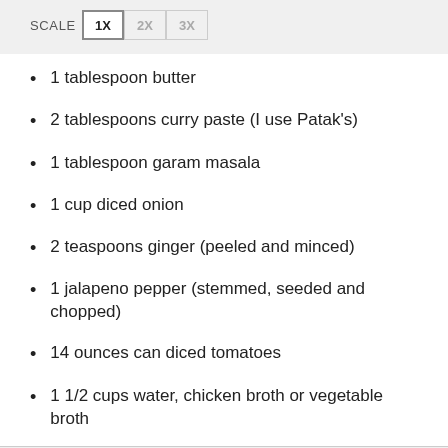SCALE 1X 2X 3X
1 tablespoon butter
2 tablespoons curry paste (I use Patak's)
1 tablespoon garam masala
1 cup diced onion
2 teaspoons ginger (peeled and minced)
1 jalapeno pepper (stemmed, seeded and chopped)
14 ounces can diced tomatoes
1 1/2 cups water, chicken broth or vegetable broth
2 15-ounce cans garbanzo beans (rinsed and drained)
1/2 cup cilantro